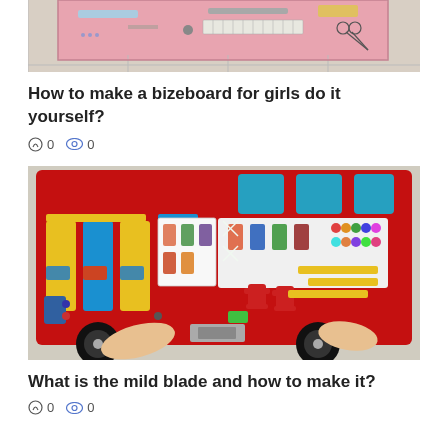[Figure (photo): Top partial photo of a pink children's activity board with tools, seen from above on a white tiled floor.]
How to make a bizeboard for girls do it yourself?
0   0
[Figure (photo): A colorful red felt busy board shaped like a fire truck, with yellow and blue fabric elements, figurine cards, beads, buckles, and laces. Children's hands are visible interacting with it.]
What is the mild blade and how to make it?
0   0